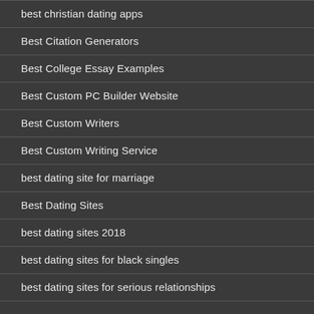best christian dating apps
Best Citation Generators
Best College Essay Examples
Best Custom PC Builder Website
Best Custom Writers
Best Custom Writing Service
best dating site for marriage
Best Dating Sites
best dating sites 2018
best dating sites for black singles
best dating sites for serious relationships